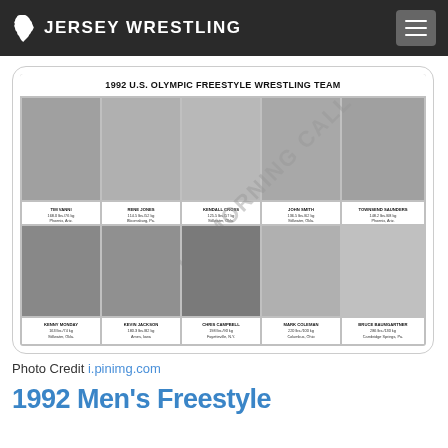JERSEY WRESTLING
[Figure (photo): 1992 U.S. Olympic Freestyle Wrestling Team official photo showing 10 wrestlers in two rows of 5, black and white, with name captions below each wrestler]
Photo Credit i.pinimg.com
1992 Men's Freestyle